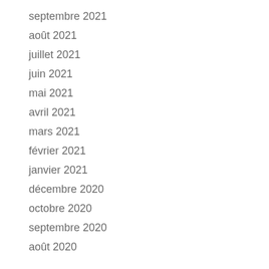septembre 2021
août 2021
juillet 2021
juin 2021
mai 2021
avril 2021
mars 2021
février 2021
janvier 2021
décembre 2020
octobre 2020
septembre 2020
août 2020